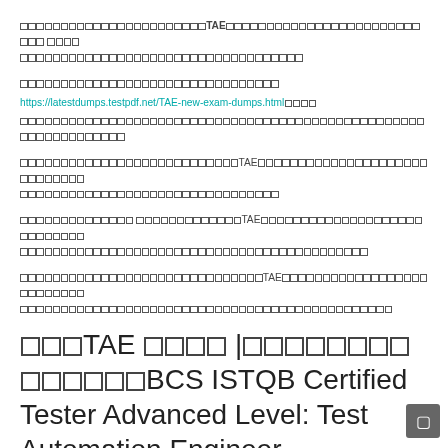[CJK text]TAE[CJK text]
https://latestdumps.testpdf.net/TAE-new-exam-dumps.html[CJK text]
[CJK text]TAE[CJK text]
[CJK text]TAE[CJK text]
[CJK text]TAE[CJK text]
[CJK]TAE [CJK] |[CJK]BCS ISTQB Certified Tester Advanced Level: Test Automation Engineer
[CJK text]350-701[CJK text]